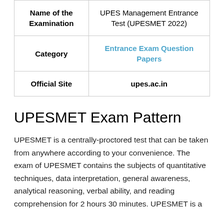| Name of the Examination | UPES Management Entrance Test (UPESMET 2022) |
| Category | Entrance Exam Question Papers |
| Official Site | upes.ac.in |
UPESMET Exam Pattern
UPESMET is a centrally-proctored test that can be taken from anywhere according to your convenience. The exam of UPESMET contains the subjects of quantitative techniques, data interpretation, general awareness, analytical reasoning, verbal ability, and reading comprehension for 2 hours 30 minutes. UPESMET is a